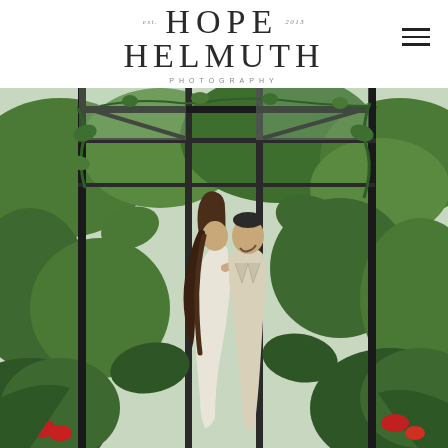EST. HOPE HELMUTH 2013 PHOTOGRAPHY
[Figure (photo): A couple embracing inside a greenhouse or botanical garden. The woman has long wavy hair and wears a white sleeveless outfit, while the man wears a light beige/cream suit. They are framed by dark metal greenhouse structural beams with lush tropical green plants surrounding them.]